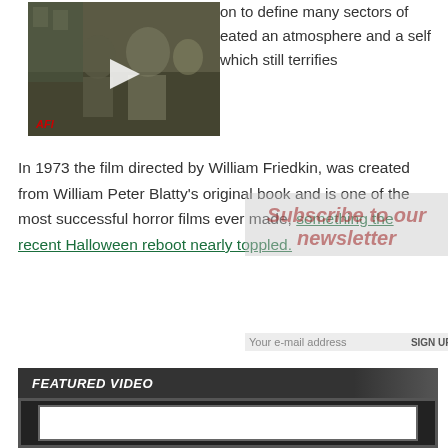[Figure (screenshot): Video thumbnail showing a scene from The Exorcist (1973), black and white still of people on a street, with a play button overlay and AFI label in bottom left]
on to define many sectors of eated an atmosphere and a self which still terrifies
In 1973 the film directed by William Friedkin, was created from William Peter Blatty's original book and is one of the most successful horror films ever made, something the recent Halloween reboot nearly toppled.
Subscribe to our newsletter
Your e-mail address   SIGN UP
FEATURED VIDEO
[Figure (screenshot): Featured video player frame, dark background with white inner rectangle, partially visible]